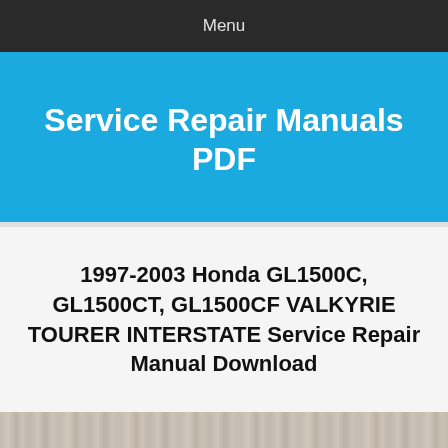Menu
Service Repair Manuals PDF
1997-2003 Honda GL1500C, GL1500CT, GL1500CF VALKYRIE TOURER INTERSTATE Service Repair Manual Download
[Figure (photo): Wood surface texture visible at the bottom of the page]